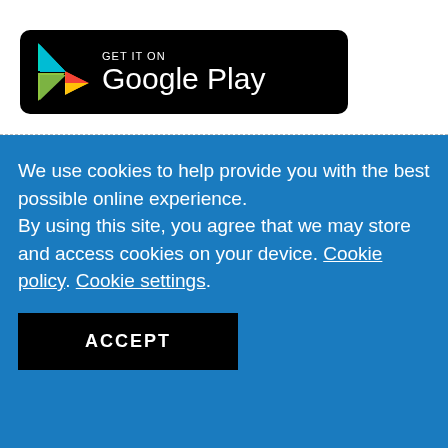[Figure (logo): Google Play Store badge with 'GET IT ON Google Play' text and a colorful play button triangle logo on a black rounded-rectangle background]
We use cookies to help provide you with the best possible online experience.
By using this site, you agree that we may store and access cookies on your device. Cookie policy. Cookie settings.
ACCEPT